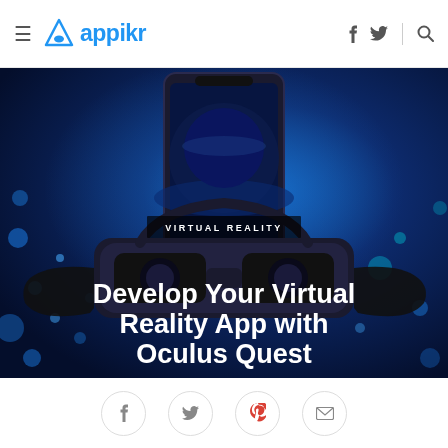appikr — navigation header with hamburger menu, logo, facebook, twitter, search icons
[Figure (screenshot): Hero image showing a VR headset and smartphone against a deep blue space-themed background with glowing bokeh dots and a planet. Contains a 'VIRTUAL REALITY' category badge and large white bold title text reading 'Develop Your Virtual Reality App with Oculus Quest']
Develop Your Virtual Reality App with Oculus Quest
VIRTUAL REALITY
[Figure (infographic): Social sharing icons row: Facebook, Twitter, Pinterest, Email — circular outline buttons at bottom of page]